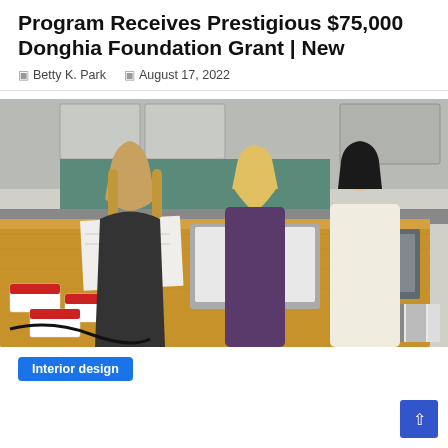Program Receives Prestigious $75,000 Donghia Foundation Grant | New
Betty K. Park   August 17, 2022
[Figure (photo): Three young women working at a large wooden kitchen island/table covered with design samples, laptops, fabric swatches, material boards, and small white labeled boxes. Kitchen cabinetry in gray tones visible in background.]
Interior design